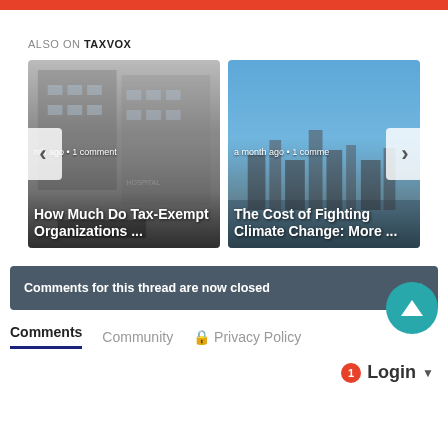ALSO ON TAXVOX
[Figure (screenshot): Carousel of related articles: left card shows hospital building in grayscale with text 'nth ago • 1 comment / How Much Do Tax-Exempt Organizations ...', right card shows city skyline with blue sky with text 'a month ago • 1 commen / The Cost of Fighting Climate Change: More ...']
Comments for this thread are now closed
Comments  Community  🔒 Privacy Policy